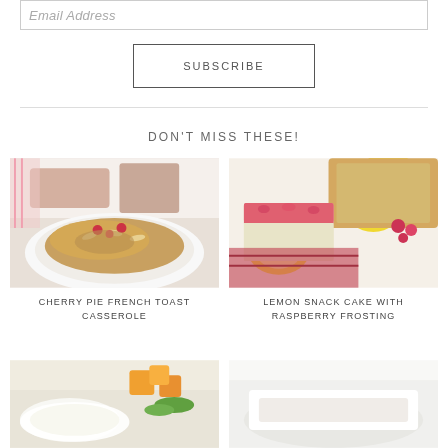Email Address
SUBSCRIBE
DON'T MISS THESE!
[Figure (photo): Cherry pie French toast casserole on a white plate with almonds and cherries on top]
CHERRY PIE FRENCH TOAST CASSEROLE
[Figure (photo): Lemon snack cake with pink raspberry frosting, lemons and raspberries in background]
LEMON SNACK CAKE WITH RASPBERRY FROSTING
[Figure (photo): Food dish partially visible at bottom left]
[Figure (photo): Food dish partially visible at bottom right]